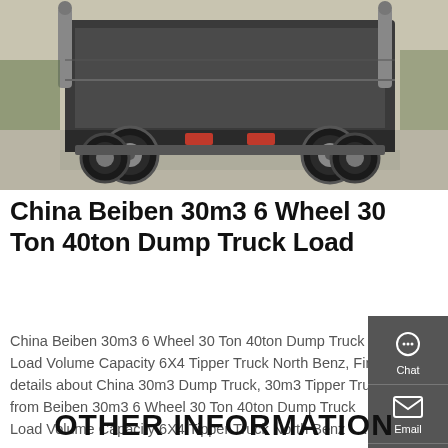[Figure (photo): Photograph of a Beiben heavy-duty dump/tipper truck viewed from the rear, parked on a concrete surface outdoors.]
China Beiben 30m3 6 Wheel 30 Ton 40ton Dump Truck Load
China Beiben 30m3 6 Wheel 30 Ton 40ton Dump Truck Load Volume Capacity 6X4 Tipper Truck North Benz, Find details about China 30m3 Dump Truck, 30m3 Tipper Truck from Beiben 30m3 6 Wheel 30 Ton 40ton Dump Truck Load Volume Capacity 6X4 Tipper Truck North Benz - …
OTHER INFORMATION